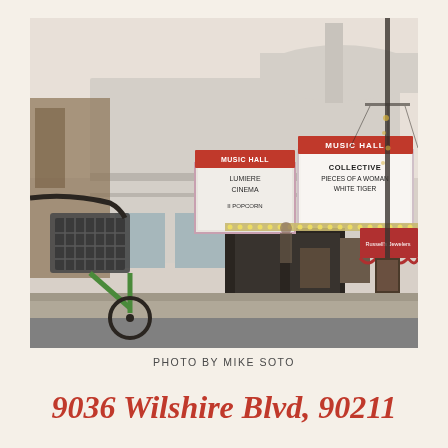[Figure (photo): Street-level photograph of the Music Hall theater on Wilshire Blvd. The Art Deco building facade is white/cream colored. The marquee shows 'MUSIC HALL' in large red letters and lists 'COLLECTIVE', 'PIECES OF A WOMAN', 'WHITE TIGER'. A smaller marquee on the left reads 'LUMIERE CINEMA' and 'II POPCORN'. A green bicycle with a basket is visible in the foreground left. A red awning for Russell's Jewelers is partially visible on the right side.]
PHOTO BY MIKE SOTO
9036 Wilshire Blvd, 90211